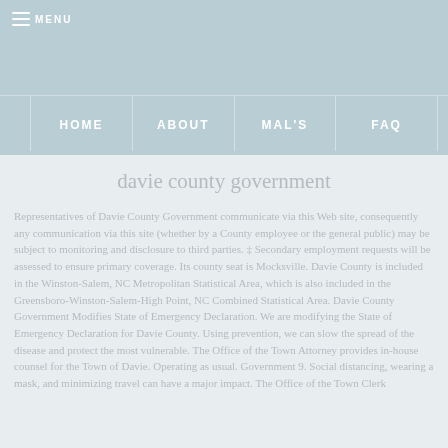MENU
HOME | ABOUT | MAL'S | FAQ
davie county government
Representatives of Davie County Government communicate via this Web site, consequently any communication via this site (whether by a County employee or the general public) may be subject to monitoring and disclosure to third parties. ‡ Secondary employment requests will be assessed to ensure primary coverage. Its county seat is Mocksville. Davie County is included in the Winston-Salem, NC Metropolitan Statistical Area, which is also included in the Greensboro-Winston-Salem-High Point, NC Combined Statistical Area. Davie County Government Modifies State of Emergency Declaration. We are modifying the State of Emergency Declaration for Davie County. Using prevention, we can slow the spread of the disease and protect the most vulnerable. The Office of the Town Attorney provides in-house counsel for the Town of Davie. Operating as usual. Government 9. Social distancing, wearing a mask, and minimizing travel can have a major impact. The Office of the Town Clerk